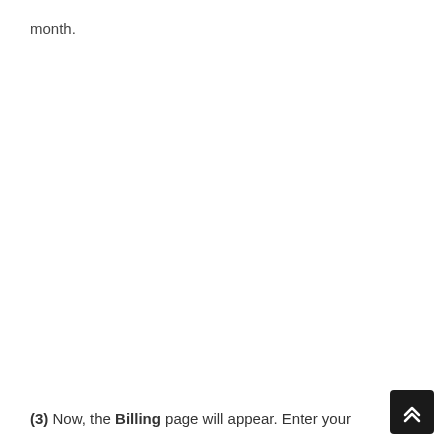month.
(3) Now, the Billing page will appear. Enter your